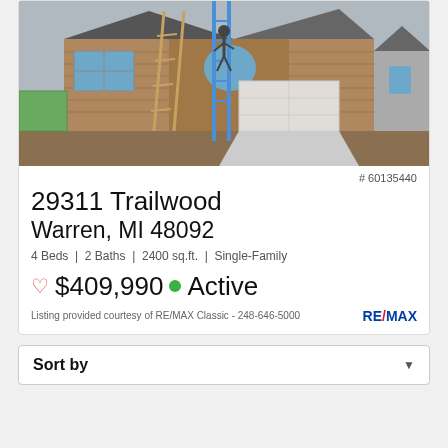[Figure (photo): Exterior photo of a two-story brick house under construction with ladders and scaffolding visible]
# 60135440
29311 Trailwood
Warren, MI 48092
4 Beds | 2 Baths | 2400 sq.ft. | Single-Family
♡ $409,990 ● Active
Listing provided courtesy of RE/MAX Classic - 248-646-5000  RE/MAX
Sort by